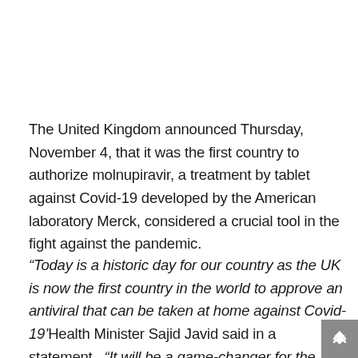The United Kingdom announced Thursday, November 4, that it was the first country to authorize molnupiravir, a treatment by tablet against Covid-19 developed by the American laboratory Merck, considered a crucial tool in the fight against the pandemic.
“Today is a historic day for our country as the UK is now the first country in the world to approve an antiviral that can be taken at home against Covid-19’Health Minister Sajid Javid said in a statement. “It will be a game-changer for the most vulnerable and the immunocompromised, who will soon be